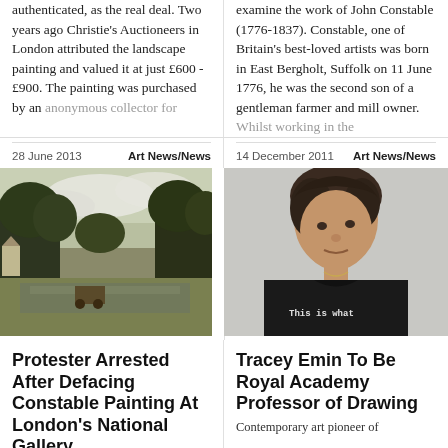authenticated, as the real deal. Two years ago Christie's Auctioneers in London attributed the landscape painting and valued it at just £600 -£900. The painting was purchased by an anonymous collector for
examine the work of John Constable (1776-1837). Constable, one of Britain's best-loved artists was born in East Bergholt, Suffolk on 11 June 1776, he was the second son of a gentleman farmer and mill owner. Whilst working in the
28 June 2013    Art News/News
14 December 2011    Art News/News
[Figure (photo): Landscape painting showing trees, water, and cloudy sky in the style of John Constable]
[Figure (photo): Photo of a woman with short dark hair wearing a black t-shirt that reads 'This is what']
Protester Arrested After Defacing Constable Painting At London's National Gallery
Tracey Emin To Be Royal Academy Professor of Drawing
Contemporary art pioneer of